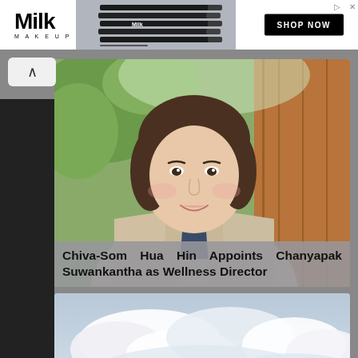[Figure (screenshot): Milk Makeup advertisement banner with logo, product pencil lineup, and SHOP NOW button]
[Figure (photo): Professional portrait photo of Chanyapak Suwankantha, a woman with short brown hair wearing a beige blazer with a necklace, smiling, with greenery and wood paneling in background]
Chiva-Som Hua Hin Appoints Chanyapak Suwankantha as Wellness Director
[Figure (photo): Landscape photo of cloudy sky, likely a resort or outdoor property scene]